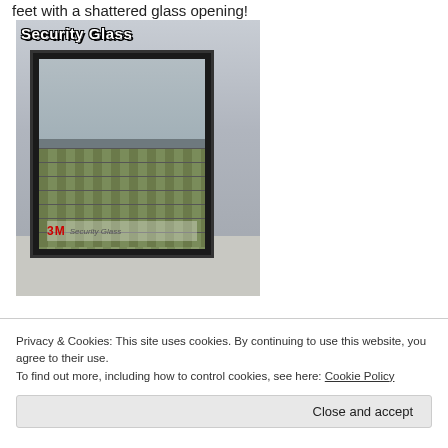feet with a shattered glass opening!
[Figure (photo): Photo of a 3M Security Glass advertisement on a bus shelter. A glass panel framed in black metal displays stacked bundles of cash/money behind it, demonstrating the strength of the security glass. The text 'Security Glass' appears at the top of the image in bold white letters. A 3M Security Glass logo appears at the bottom.]
Privacy & Cookies: This site uses cookies. By continuing to use this website, you agree to their use.
To find out more, including how to control cookies, see here: Cookie Policy
Close and accept